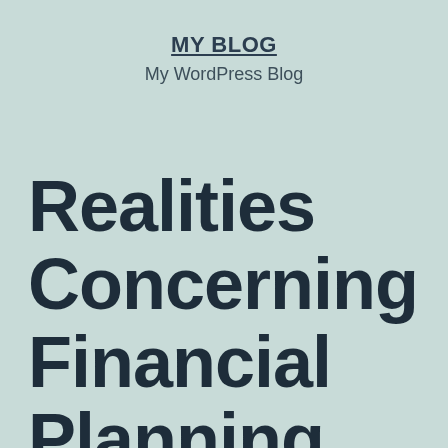MY BLOG
My WordPress Blog
Realities Concerning Financial Planning That